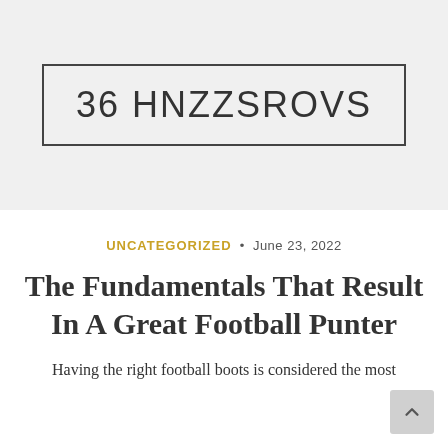36 HNZZSROVS
UNCATEGORIZED • June 23, 2022
The Fundamentals That Result In A Great Football Punter
Having the right football boots is considered the most